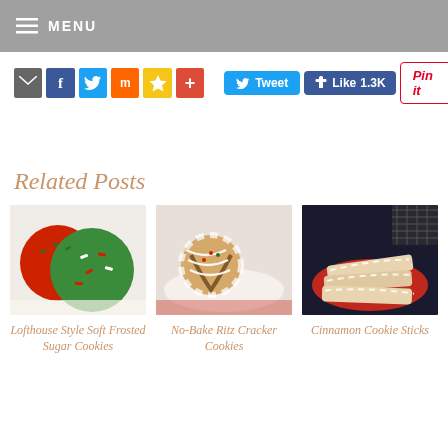MENU
[Figure (infographic): Social sharing buttons row: email, Facebook, Twitter, Mix, star/bookmark, plus/add icons, then Tweet button, Like 1.3K button, Pin it button]
Related Posts
[Figure (photo): Red and green frosted sugar cookies with sprinkles on white background]
Lofthouse Style Soft Frosted Sugar Cookies
[Figure (photo): No-bake Ritz cracker cookies dipped in white and dark chocolate with sprinkles on a plate]
No-Bake Ritz Cracker Cookies
[Figure (photo): Cinnamon cookie sticks drizzled with white chocolate on a red plate]
Cinnamon Cookie Sticks